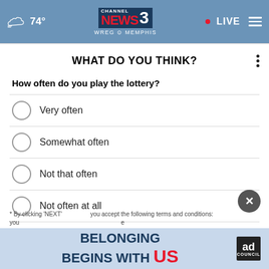74° NEWS CHANNEL 3 WREG MEMPHIS • LIVE
WHAT DO YOU THINK?
How often do you play the lottery?
Very often
Somewhat often
Not that often
Not often at all
Other / Does not apply
NEXT *
* By clicking 'NEXT' you accept the following terms and conditions: your ... reach ...
[Figure (infographic): Ad banner: BELONGING BEGINS WITH US — Ad Council logo]